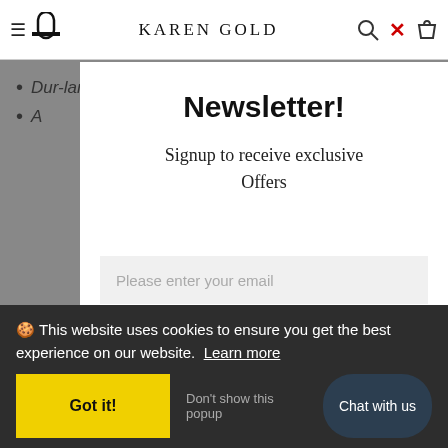KAREN GOLD
Dur-larn
A...
Newsletter!
Signup to receive exclusive Offers
Please enter your email
Related
🍪 This website uses cookies to ensure you get the best experience on our website. Learn more
Got it!
Don't show this popup
Chat with us